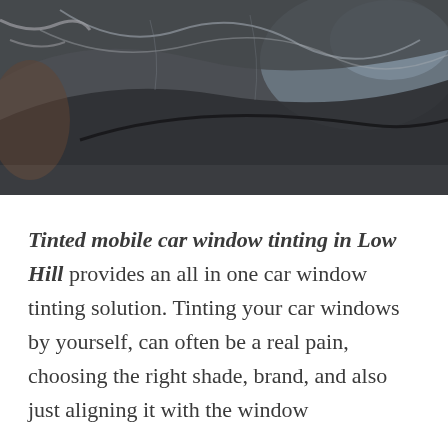[Figure (photo): Close-up photo of a car hood/windshield being covered with tinting film. The film appears silvery-grey and reflective, with a blue sky reflected in the car surface. The scene is somewhat dark and moody.]
Tinted mobile car window tinting in Low Hill provides an all in one car window tinting solution. Tinting your car windows by yourself, can often be a real pain, choosing the right shade, brand, and also just aligning it with the window